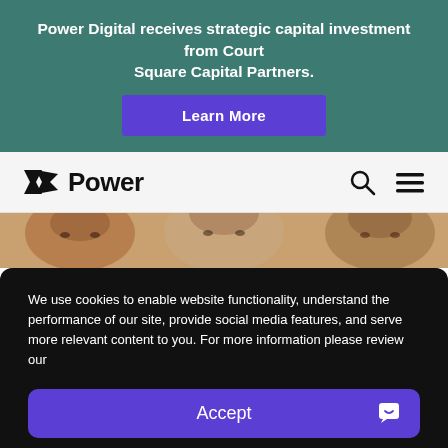Power Digital receives strategic capital investment from Court Square Capital Partners.
Learn More
[Figure (logo): Power Digital logo with stylized flag icon and the word Power in bold]
[Figure (photo): Close-up photo of people's faces with warm skin tones]
We use cookies to enable website functionality, understand the performance of our site, provide social media features, and serve more relevant content to you. For more information please review our
Accept
Privacy Policy  Privacy Policy